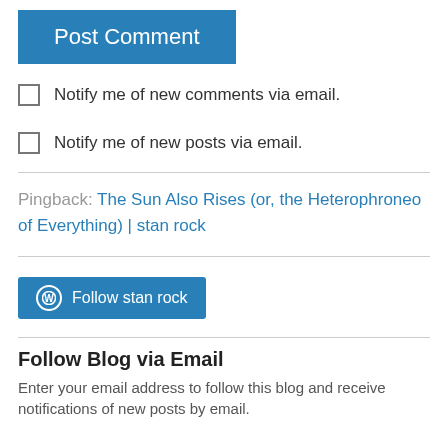Post Comment
Notify me of new comments via email.
Notify me of new posts via email.
Pingback: The Sun Also Rises (or, the Heterophroneo of Everything) | stan rock
[Figure (logo): WordPress follow button: Follow stan rock]
Follow Blog via Email
Enter your email address to follow this blog and receive notifications of new posts by email.